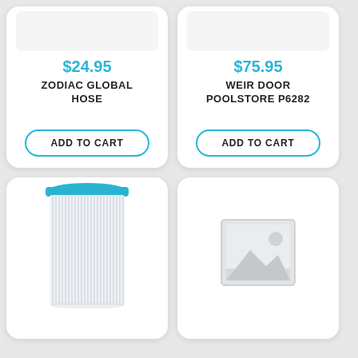[Figure (photo): Product image area for Zodiac Global Hose (top, partially cropped)]
$24.95
ZODIAC GLOBAL HOSE
ADD TO CART
[Figure (photo): Product image area for Weir Door Poolstore P6282 (top, partially cropped)]
$75.95
WEIR DOOR POOLSTORE P6282
ADD TO CART
[Figure (photo): Pool filter cartridge with blue top ring]
[Figure (photo): Placeholder image icon for product with no image]